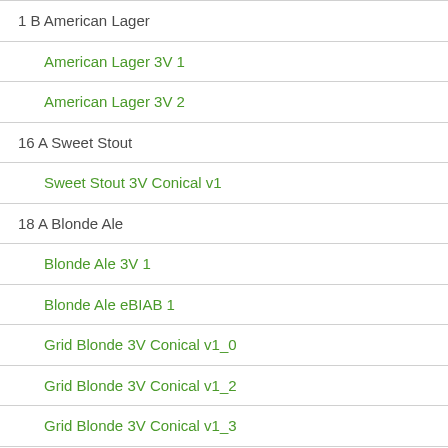1 B American Lager
American Lager 3V 1
American Lager 3V 2
16 A Sweet Stout
Sweet Stout 3V Conical v1
18 A Blonde Ale
Blonde Ale 3V 1
Blonde Ale eBIAB 1
Grid Blonde 3V Conical v1_0
Grid Blonde 3V Conical v1_2
Grid Blonde 3V Conical v1_3
Grid Blonde 3V Conical v1_4
Grid Blonde 3V Conical v1_5